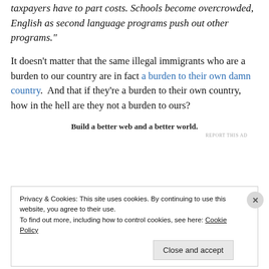taxpayers have to part costs. Schools become overcrowded, English as second language programs push out other programs."
It doesn't matter that the same illegal immigrants who are a burden to our country are in fact a burden to their own damn country.  And that if they're a burden to their own country, how in the hell are they not a burden to ours?
Build a better web and a better world.
REPORT THIS AD
Privacy & Cookies: This site uses cookies. By continuing to use this website, you agree to their use.
To find out more, including how to control cookies, see here: Cookie Policy
Close and accept